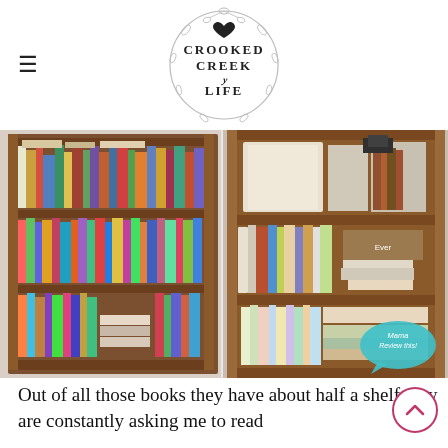[Figure (logo): Crooked Creek Life circular logo with decorative vine border and heart, text reads CROOKED CREEK LIFE]
[Figure (photo): Two photos side by side of cluttered bookshelves full of children's books and DVDs in a wooden bookcase]
Out of all those books they have about half a shelf they are constantly asking me to read